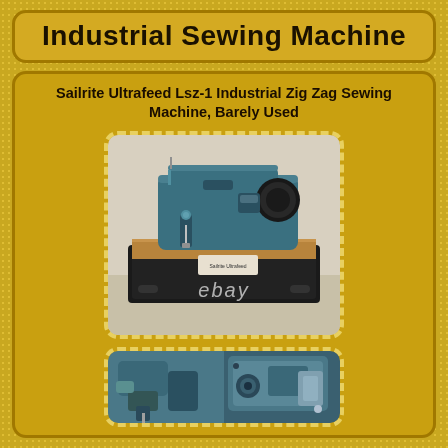Industrial Sewing Machine
Sailrite Ultrafeed Lsz-1 Industrial Zig Zag Sewing Machine, Barely Used
[Figure (photo): Photo of a teal/blue Sailrite Ultrafeed LSZ-1 industrial zig zag sewing machine on a wooden base with black case, with eBay watermark]
[Figure (photo): Close-up photo of the Sailrite Ultrafeed LSZ-1 industrial sewing machine showing detail of the teal/blue body and mechanical components]